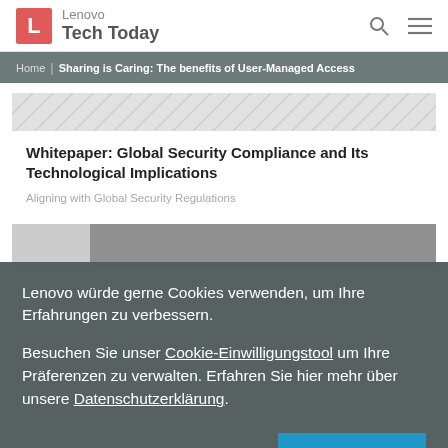Lenovo Tech Today
Home | Sharing is Caring: The benefits of User-Managed Access
Whitepaper: Global Security Compliance and Its Technological Implications
Aligning with Global Security Regulations
Lenovo würde gerne Cookies verwenden, um Ihre Erfahrungen zu verbessern.
Besuchen Sie unser Cookie-Einwilligungstool um Ihre Präferenzen zu verwalten. Erfahren Sie hier mehr über unsere Datenschutzerklärung.
ACCEPT ALL